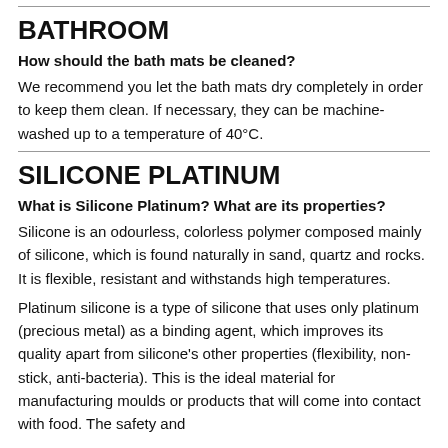BATHROOM
How should the bath mats be cleaned?
We recommend you let the bath mats dry completely in order to keep them clean. If necessary, they can be machine-washed up to a temperature of 40°C.
SILICONE PLATINUM
What is Silicone Platinum? What are its properties?
Silicone is an odourless, colorless polymer composed mainly of silicone, which is found naturally in sand, quartz and rocks. It is flexible, resistant and withstands high temperatures.
Platinum silicone is a type of silicone that uses only platinum (precious metal) as a binding agent, which improves its quality apart from silicone's other properties (flexibility, non-stick, anti-bacteria). This is the ideal material for manufacturing moulds or products that will come into contact with food. The safety and